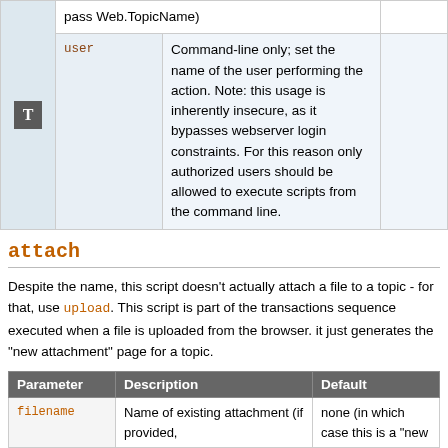|  | Parameter | Description | Default |
| --- | --- | --- | --- |
| T |  | pass Web.TopicName) |  |
|  | user | Command-line only; set the name of the user performing the action. Note: this usage is inherently insecure, as it bypasses webserver login constraints. For this reason only authorized users should be allowed to execute scripts from the command line. |  |
attach
Despite the name, this script doesn't actually attach a file to a topic - for that, use upload. This script is part of the transactions sequence executed when a file is uploaded from the browser. it just generates the "new attachment" page for a topic.
| Parameter | Description | Default |
| --- | --- | --- |
| filename | Name of existing attachment (if provided, | none (in which case this is a "new |